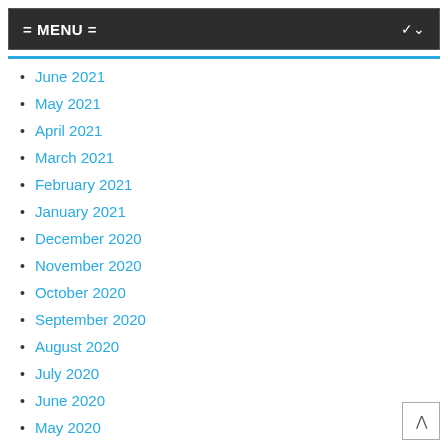= MENU =
June 2021
May 2021
April 2021
March 2021
February 2021
January 2021
December 2020
November 2020
October 2020
September 2020
August 2020
July 2020
June 2020
May 2020